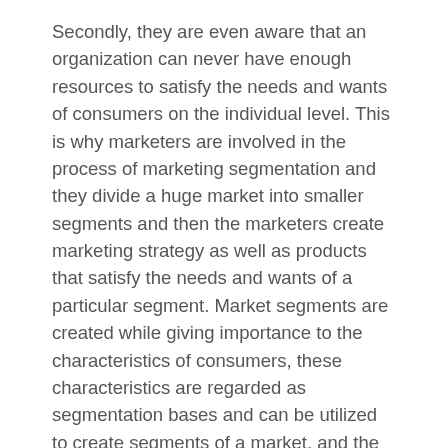Secondly, they are even aware that an organization can never have enough resources to satisfy the needs and wants of consumers on the individual level. This is why marketers are involved in the process of marketing segmentation and they divide a huge market into smaller segments and then the marketers create marketing strategy as well as products that satisfy the needs and wants of a particular segment. Market segments are created while giving importance to the characteristics of consumers, these characteristics are regarded as segmentation bases and can be utilized to create segments of a market, and the most commonly used segmentation bases include: consumer's age, the place they live in, their income levels and the purchasing behaviors (STEVENS, 2012, p.32). There are several strategies of marketing that a marketer can use for his/her product, one such strategy is recognized as marketing at the mass level, and this is even recognized by the name of undifferentiated